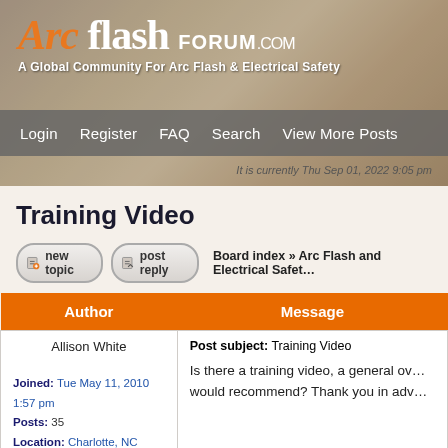Arc flash FORUM.COM
A Global Community For Arc Flash & Electrical Safety
Login   Register   FAQ   Search   View More Posts
It is currently Thu Sep 01, 2022 9:05 pm
Training Video
new topic   post reply   Board index » Arc Flash and Electrical Safety
| Author | Message |
| --- | --- |
| Allison White

Joined: Tue May 11, 2010 1:57 pm
Posts: 35
Location: Charlotte, NC | Post subject: Training Video

Is there a training video, a general overview, that you would recommend? Thank you in advance. |